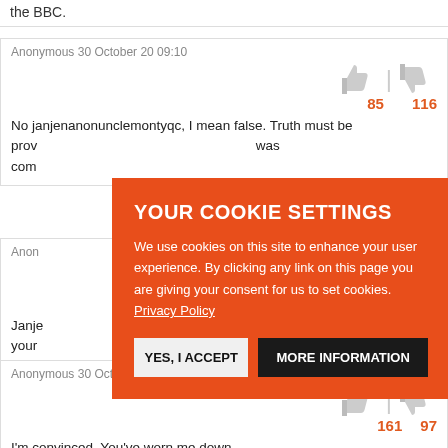the BBC.
Anonymous 30 October 20 09:10
85 | 116
No janjenanonunclemontyqc, I mean false. Truth must be prov... it... was com...
Anon...
...38
Janje... up your... was com...
[Figure (screenshot): Cookie consent overlay on orange background with title YOUR COOKIE SETTINGS, body text about cookies and Privacy Policy link, and two buttons: YES, I ACCEPT and MORE INFORMATION]
Anonymous 30 October 20 10:22
161 | 97
I'm convinced. You've worn me down.

I will finally say the words out loud: Lord Lester was a proper wrong 'un.